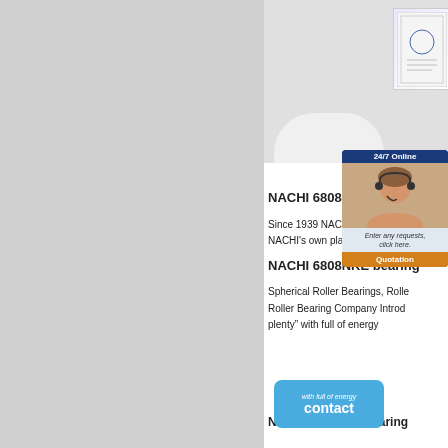[Figure (photo): Product photo area showing a white round table surface with a certification document/framed certificate in the upper right corner. Left portion is a gray panel.]
NACHI 6808NKE
Since 1939 NACHI
NACHI's own plants
NACHI 6808NKE bearing
Spherical Roller Bearings, Rolle
Roller Bearing Company Introd
plenty" with full of energy
NACHI 6808NKE bearing